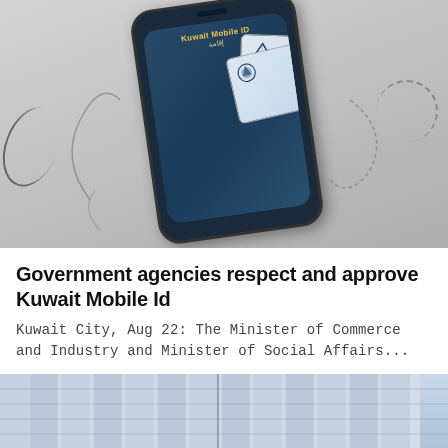[Figure (photo): Smartphone displaying Kuwait Mobile ID app with identity cards shown on screen, set against a light gray gradient background with decorative swirling lines]
Government agencies respect and approve Kuwait Mobile Id
Kuwait City, Aug 22: The Minister of Commerce and Industry and Minister of Social Affairs...
[Figure (photo): Exterior facade of a tall building with a grid pattern of windows, photographed against a pale blue sky]